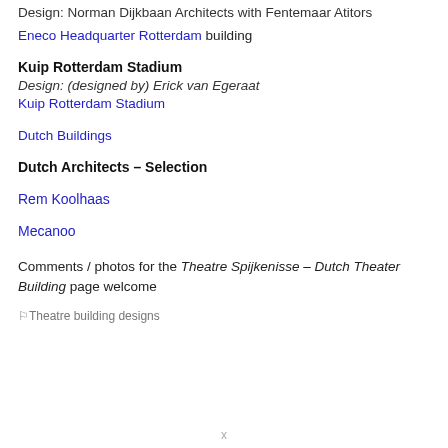Design: Norman Dijkbaan Architects with Fentemaar Atitors
Eneco Headquarter Rotterdam building
Kuip Rotterdam Stadium
Design: (designed by) Erick van Egeraat
Kuip Rotterdam Stadium
Dutch Buildings
Dutch Architects – Selection
Rem Koolhaas
Mecanoo
Comments / photos for the Theatre Spijkenisse – Dutch Theater Building page welcome
Theatre building designs